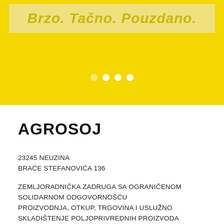[Figure (screenshot): Yellow banner section with italic bold text 'Brzo. Tačno. Pouzdano.' on a lighter yellow box, above a solid yellow background with carousel dots (4 dots, second through fourth active white).]
AGROSOJ
23245 NEUZINA
BRAĆE STEFANOVIĆA 136
ZEMLJORADNIČKA ZADRUGA SA OGRANIČENOM SOLIDARNOM ODGOVORNOŠĆU
PROIZVODNJA, OTKUP, TRGOVINA I USLUŽNO SKLADIŠTENJE POLJOPRIVREDNIH PROIZVODA